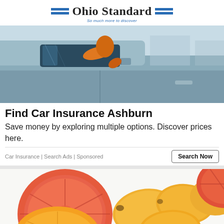Ohio Standard — So much more to discover
[Figure (photo): Woman in orange top leaning out of a car window, close-up of car door and side mirror]
Find Car Insurance Ashburn
Save money by exploring multiple options. Discover prices here.
Car Insurance | Search Ads | Sponsored
[Figure (photo): Sliced oranges, grapefruit halves, and mangoes arranged on a white background]